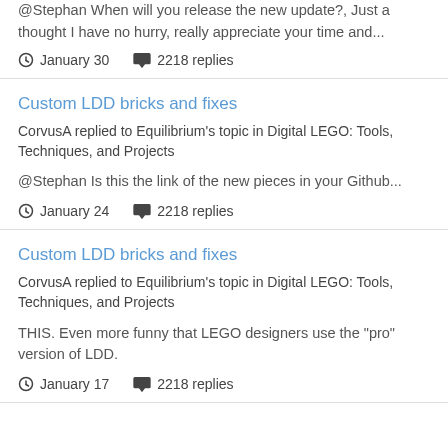@Stephan When will you release the new update?, Just a thought I have no hurry, really appreciate your time and...
January 30   2218 replies
Custom LDD bricks and fixes
CorvusA replied to Equilibrium's topic in Digital LEGO: Tools, Techniques, and Projects
@Stephan Is this the link of the new pieces in your Github...
January 24   2218 replies
Custom LDD bricks and fixes
CorvusA replied to Equilibrium's topic in Digital LEGO: Tools, Techniques, and Projects
THIS. Even more funny that LEGO designers use the "pro" version of LDD.
January 17   2218 replies